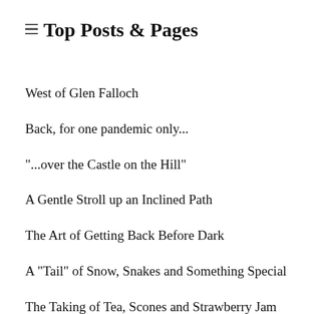Top Posts & Pages
West of Glen Falloch
Back, for one pandemic only...
"...over the Castle on the Hill"
A Gentle Stroll up an Inclined Path
The Art of Getting Back Before Dark
A "Tail" of Snow, Snakes and Something Special
The Taking of Tea, Scones and Strawberry Jam
Winter Arrives on Meall Tairneachan